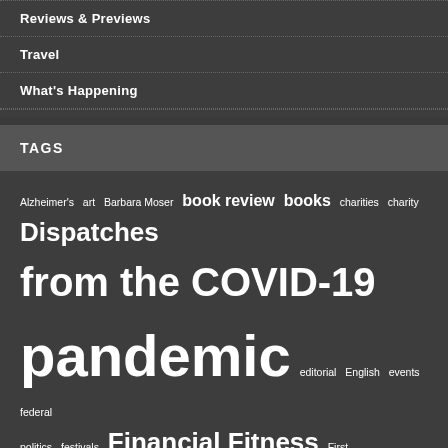Reviews & Previews
Travel
What's Happening
TAGS
Alzheimer's  art  Barbara Moser  book review  books  charities  charity  Dispatches from the COVID-19 pandemic  editorial  English  events  federal politics  festivals  Financial Fitness  First